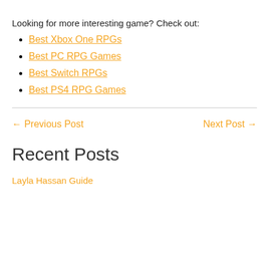Looking for more interesting game? Check out:
Best Xbox One RPGs
Best PC RPG Games
Best Switch RPGs
Best PS4 RPG Games
← Previous Post
Next Post →
Recent Posts
Layla Hassan Guide